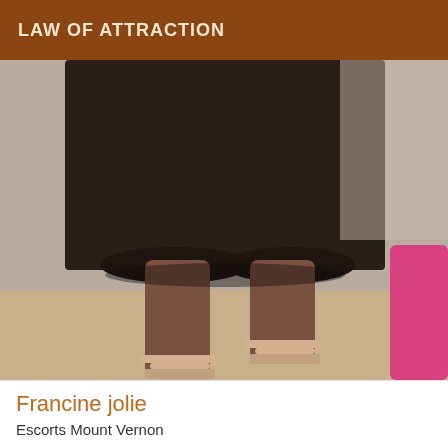LAW OF ATTRACTION
[Figure (photo): Photo showing lower body of a person wearing a dark skirt and strappy sandal heels, with a pink object visible on the right side, taken indoors on a wooden floor.]
Francine jolie
Escorts Mount Vernon